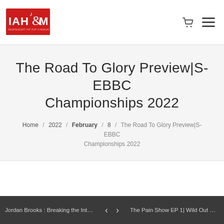IAHM logo — navigation with cart and hamburger menu
The Road To Glory Preview|S-EBBC Championships 2022
Home / 2022 / February / 8 / The Road To Glory Preview|S-EBBC Championships 2022
Jordan Brooks : Breaking the Inter... < > The Pain Show EP 1| Wild Out Wed...